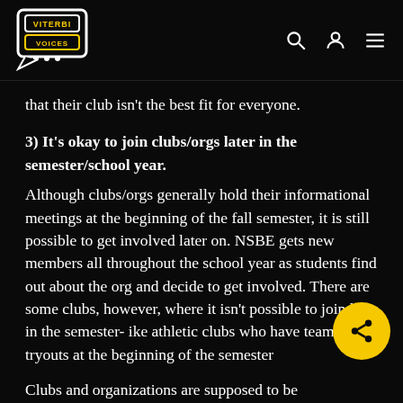Viterbi Voices
that their club isn't the best fit for everyone.
3) It's okay to join clubs/orgs later in the semester/school year.
Although clubs/orgs generally hold their informational meetings at the beginning of the fall semester, it is still possible to get involved later on. NSBE gets new members all throughout the school year as students find out about the org and decide to get involved. There are some clubs, however, where it isn't possible to join later in the semester- ike athletic clubs who have team tryouts at the beginning of the semester
Clubs and organizations are supposed to be